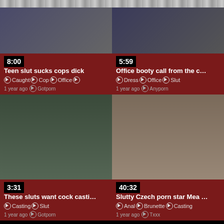[Figure (screenshot): Video thumbnail grid - top left: 8:00 duration, Teen slut sucks cops dick, tags: Caught, Cop, Office, 1 year ago, Gotporn]
[Figure (screenshot): Video thumbnail grid - top right: 5:59 duration, Office booty call from the c..., tags: Dress, Office, Slut, 1 year ago, Anyporn]
[Figure (screenshot): Video thumbnail grid - bottom left: 3:31 duration, These sluts want cock casti..., tags: Casting, Slut, 1 year ago, Gotporn]
[Figure (screenshot): Video thumbnail grid - bottom right: 40:32 duration, Slutty Czech porn star Mea ..., tags: Anal, Brunette, Casting, 1 year ago, Txxx]